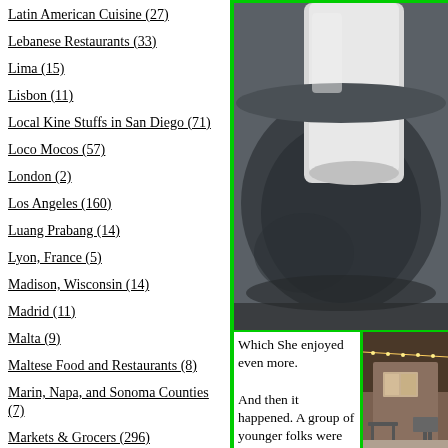Latin American Cuisine (27)
Lebanese Restaurants (33)
Lima (15)
Lisbon (11)
Local Kine Stuffs in San Diego (71)
Loco Mocos (57)
London (2)
Los Angeles (160)
Luang Prabang (14)
Lyon, France (5)
Madison, Wisconsin (14)
Madrid (11)
Malta (9)
Maltese Food and Restaurants (8)
Marin, Napa, and Sonoma Counties (7)
Markets & Grocers (296)
Maui (7)
Mediterranean Restaurants (57)
[Figure (photo): Close-up photo of a cast iron pan with a white ceramic item, dark tones]
Which She enjoyed even more.
And then it happened. A group of younger folks were having a competitive round of Jumbo Jenga. One of the young men was really "chirping" quite a bit....and he was backing things up by beating all his friends. He saw us watching and started
[Figure (photo): Outdoor patio area at dusk with string lights and furniture]